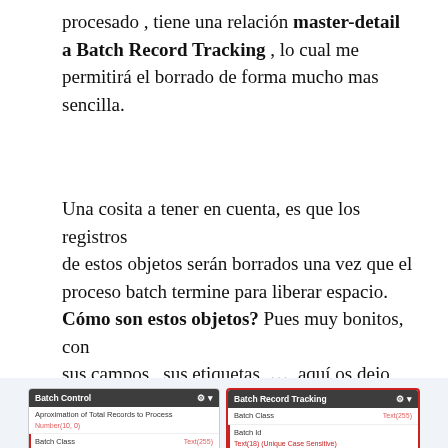procesado , tiene una relación master-detail a Batch Record Tracking , lo cual me permitirá el borrado de forma mucho mas sencilla.
Una cosita a tener en cuenta, es que los registros de estos objetos serán borrados una vez que el proceso batch termine para liberar espacio. Cómo son estos objetos? Pues muy bonitos, con sus campos , sus etiquetas ...  aquí os dejo una fotito:
[Figure (screenshot): Screenshot of two Salesforce object schema boxes: 'Batch Control' and 'Batch Record Tracking', showing their fields and field types.]